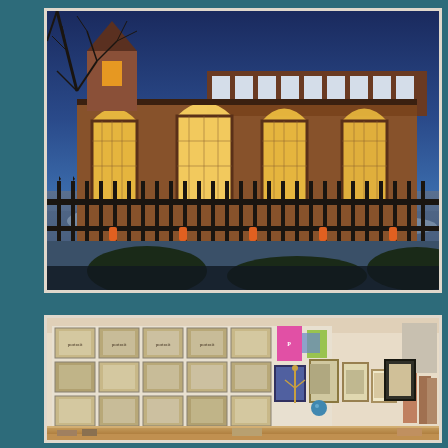[Figure (photo): Exterior of a brick library building photographed at dusk/night. The building has large arched windows glowing warmly from inside lighting. Bare tree branches visible against a deep blue twilight sky. Snow on the ground. A black iron fence with vertical bars and orange reflectors in the foreground.]
[Figure (photo): Interior of what appears to be a museum gift shop or library display area. Wooden shelving units display numerous framed portraits and photographs arranged in a grid pattern. Colorful merchandise and books visible on lower shelves. Various decorative items and framed images on display.]